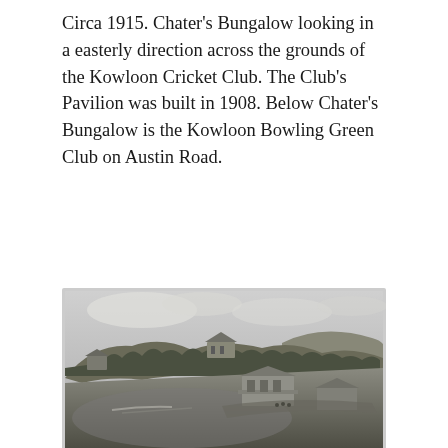Circa 1915. Chater's Bungalow looking in a easterly direction across the grounds of the Kowloon Cricket Club. The Club's Pavilion was built in 1908. Below Chater's Bungalow is the Kowloon Bowling Green Club on Austin Road.
[Figure (photo): Black and white photograph circa 1915 showing Chater's Bungalow on a hilltop surrounded by trees, looking easterly across the Kowloon Cricket Club grounds. A pavilion building is visible in the middle distance, with open cricket grounds in the foreground and hills in the background.]